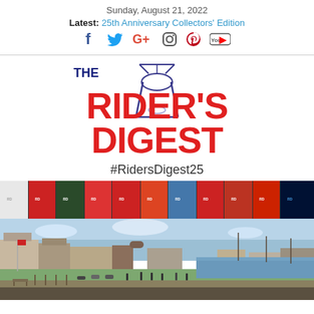Sunday, August 21, 2022
Latest: 25th Anniversary Collectors' Edition
[Figure (other): Social media icons: Facebook, Twitter, Google+, Instagram, Pinterest, YouTube]
[Figure (logo): The Rider's Digest logo with motorcycle fork illustration and red bold text saying RIDER'S DIGEST]
#RidersDigest25
[Figure (photo): A horizontal strip of motorcycle magazine covers]
[Figure (photo): A harbour/waterfront scene with motorcycles gathered and buildings in background, blue sky]